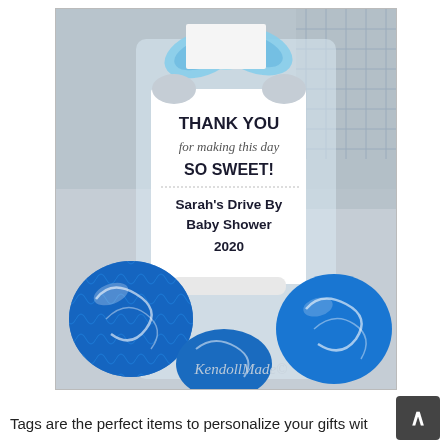[Figure (photo): A baby shower favor photo showing blue and white foil-wrapped chocolate candies in a clear bag, with a white onesie-shaped gift tag that reads 'THANK YOU for making this day SO SWEET! Sarah's Drive By Baby Shower 2020' decorated with a light blue bow. Watermark 'KendollMade©' visible in lower right of photo.]
Tags are the perfect items to personalize your gifts wit